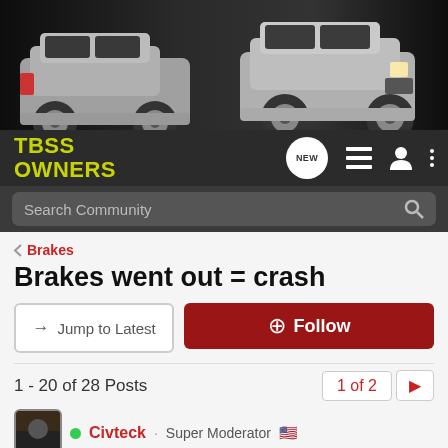[Figure (photo): Website banner showing two silver Chevrolet TrailBlazer SS SUVs on a dark background]
TBSS OWNERS
Search Community
< Brakes
Brakes went out = crash
→ Jump to Latest
+ Follow
1 - 20 of 28 Posts
1 of 2 ▶
Civteck · Super Moderator 🇺🇸